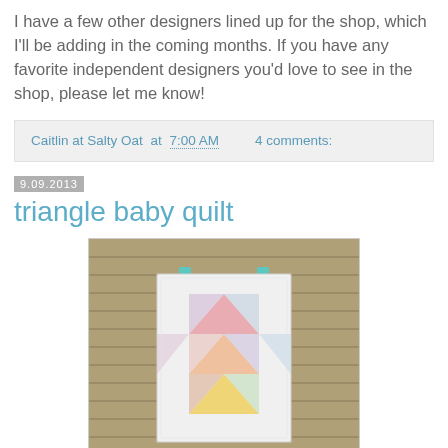I have a few other designers lined up for the shop, which I'll be adding in the coming months. If you have any favorite independent designers you'd love to see in the shop, please let me know!
Caitlin at Salty Oat at 7:00 AM   4 comments:
9.09.2013
triangle baby quilt
[Figure (photo): A white baby quilt with colorful triangle patchwork pattern hanging against a tan/olive brick wall. The quilt is hung with teal/turquoise clips. The triangles in the quilt are made from various floral and patterned fabrics in pink, orange, yellow, green, and blue hues.]